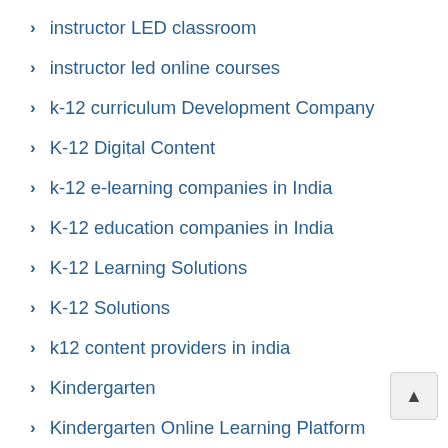instructor LED classroom
instructor led online courses
k-12 curriculum Development Company
K-12 Digital Content
k-12 e-learning companies in India
K-12 education companies in India
K-12 Learning Solutions
K-12 Solutions
k12 content providers in india
Kindergarten
Kindergarten Online Learning Platform
LED Training